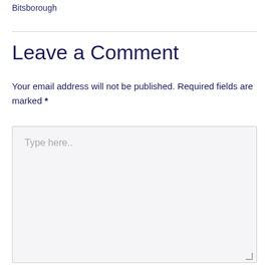Bitsborough
Leave a Comment
Your email address will not be published. Required fields are marked *
Type here..